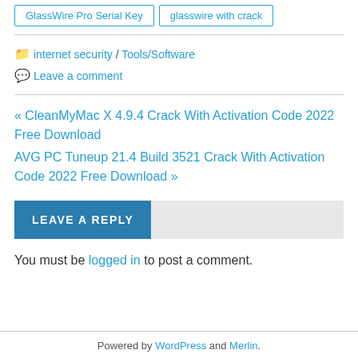GlassWire Pro Serial Key | glasswire with crack
internet security / Tools/Software
Leave a comment
« CleanMyMac X 4.9.4 Crack With Activation Code 2022 Free Download
AVG PC Tuneup 21.4 Build 3521 Crack With Activation Code 2022 Free Download »
LEAVE A REPLY
You must be logged in to post a comment.
Powered by WordPress and Merlin.